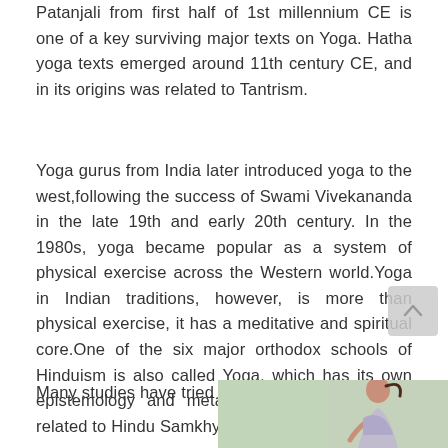Patanjali from first half of 1st millennium CE is one of a key surviving major texts on Yoga. Hatha yoga texts emerged around 11th century CE, and in its origins was related to Tantrism.
Yoga gurus from India later introduced yoga to the west,following the success of Swami Vivekananda in the late 19th and early 20th century. In the 1980s, yoga became popular as a system of physical exercise across the Western world.Yoga in Indian traditions, however, is more than physical exercise, it has a meditative and spiritual core.One of the six major orthodox schools of Hinduism is also called Yoga, which has its own epistemology and metaphysics, and is closely related to Hindu Samkhya philosophy.
Many studies have tried to
[Figure (photo): A woman with a ponytail photographed from the side/front, appearing to be in a yoga or meditative pose. Background is light/blurred.]